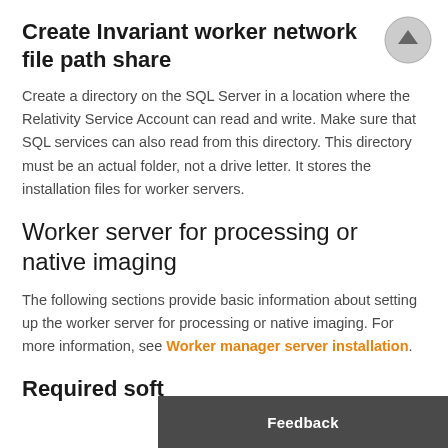Create Invariant worker network file path share
Create a directory on the SQL Server in a location where the Relativity Service Account can read and write. Make sure that SQL services can also read from this directory. This directory must be an actual folder, not a drive letter. It stores the installation files for worker servers.
Worker server for processing or native imaging
The following sections provide basic information about setting up the worker server for processing or native imaging. For more information, see Worker manager server installation.
Required soft